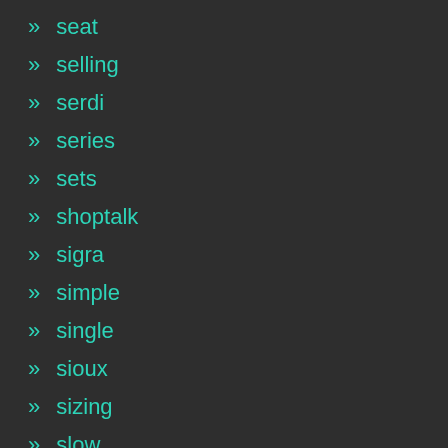» seat
» selling
» serdi
» series
» sets
» shoptalk
» sigra
» simple
» single
» sioux
» sizing
» slow
» small
» smart